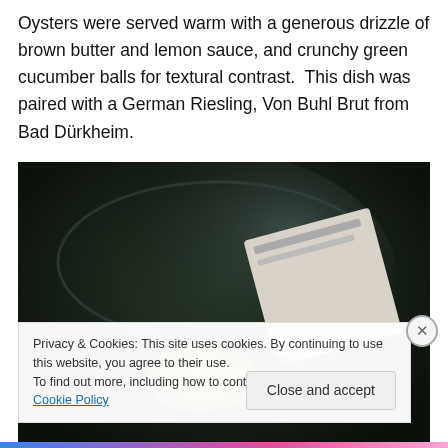Oysters were served warm with a generous drizzle of brown butter and lemon sauce, and crunchy green cucumber balls for textural contrast.  This dish was paired with a German Riesling, Von Buhl Brut from Bad Dürkheim.
[Figure (photo): Close-up photograph of a warm oyster dish with brown butter sauce, showing the oyster in a dark bowl with a blurred background including what appears to be a label or paper.]
Privacy & Cookies: This site uses cookies. By continuing to use this website, you agree to their use.
To find out more, including how to control cookies, see here: Cookie Policy
Close and accept